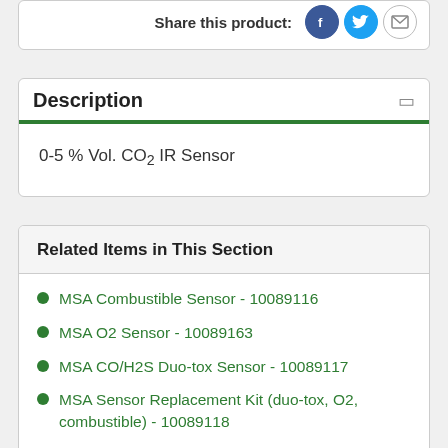Description
0-5 % Vol. CO2 IR Sensor
Related Items in This Section
MSA Combustible Sensor - 10089116
MSA O2 Sensor - 10089163
MSA CO/H2S Duo-tox Sensor - 10089117
MSA Sensor Replacement Kit (duo-tox, O2, combustible) - 10089118